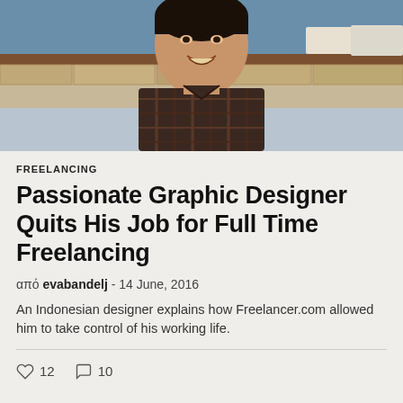[Figure (photo): Portrait photo of a smiling Asian man wearing a plaid/checkered shirt, photographed indoors against a stone wall background]
FREELANCING
Passionate Graphic Designer Quits His Job for Full Time Freelancing
από evabandelj - 14 June, 2016
An Indonesian designer explains how Freelancer.com allowed him to take control of his working life.
♡ 12   ○ 10